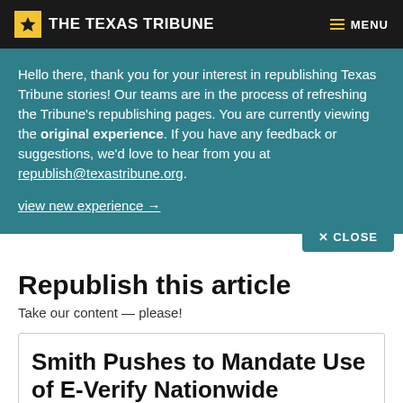THE TEXAS TRIBUNE | MENU
Hello there, thank you for your interest in republishing Texas Tribune stories! Our teams are in the process of refreshing the Tribune's republishing pages. You are currently viewing the original experience. If you have any feedback or suggestions, we'd love to hear from you at republish@texastribune.org.

view new experience →

✕ CLOSE
Republish this article
Take our content — please!
Smith Pushes to Mandate Use of E-Verify Nationwide